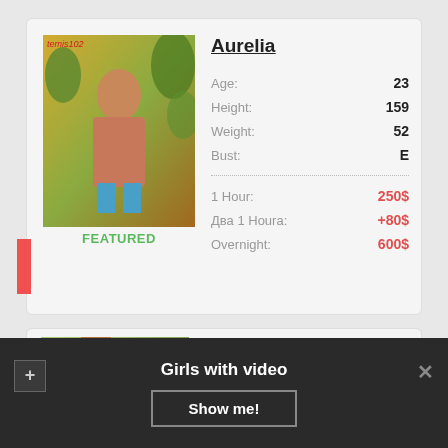[Figure (photo): Photo of Aurelia, a blonde woman posing outdoors with tropical plants in the background]
FEATURED
Aurelia
Age: 23
Height: 159
Weight: 52
Bust: E
1 Hour: 250$
Два 1 Houra: +80$
Overnight: 600$
[Figure (photo): Partial photo of Isolde, a woman with reddish hair outdoors]
Isolde
Girls with video
Show me!